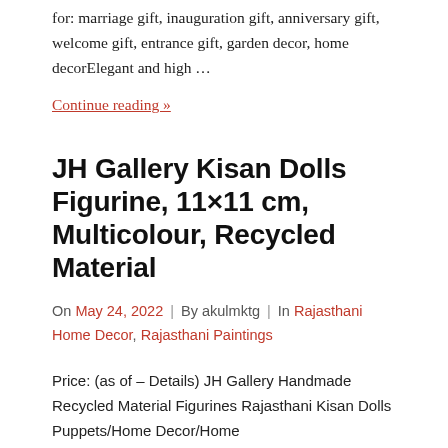for: marriage gift, inauguration gift, anniversary gift, welcome gift, entrance gift, garden decor, home decorElegant and high …
Continue reading »
JH Gallery Kisan Dolls Figurine, 11×11 cm, Multicolour, Recycled Material
On May 24, 2022 | By akulmktg | In Rajasthani Home Decor, Rajasthani Paintings
Price: (as of – Details) JH Gallery Handmade Recycled Material Figurines Rajasthani Kisan Dolls Puppets/Home Decor/Home Furnishing/Firguine/Idol/Gifting Idol/Decorative Figurine Craft Terra Dolls & Toys Material Recycled...